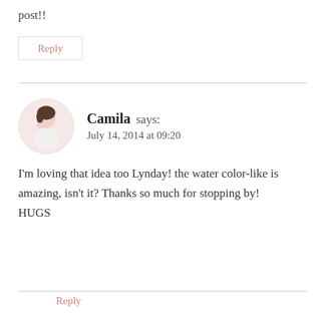post!!
Reply
Camila says:
July 14, 2014 at 09:20
I'm loving that idea too Lynday! the water color-like is amazing, isn't it? Thanks so much for stopping by!
HUGS
Reply